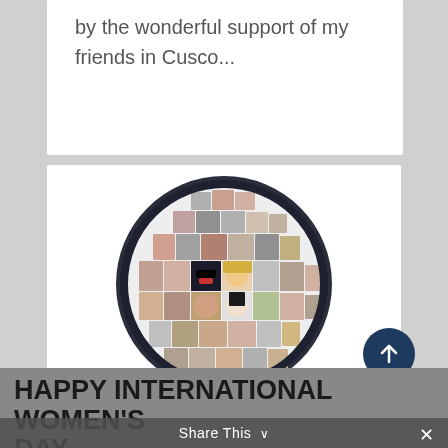by the wonderful support of my friends in Cusco...
[Figure (photo): A globe-shaped collage of women's faces and portraits from diverse backgrounds and ages, arranged in a mosaic pattern on a spherical form with a dark border.]
HAPPY INTERNATIONAL WOMEN'S DAY
Share This